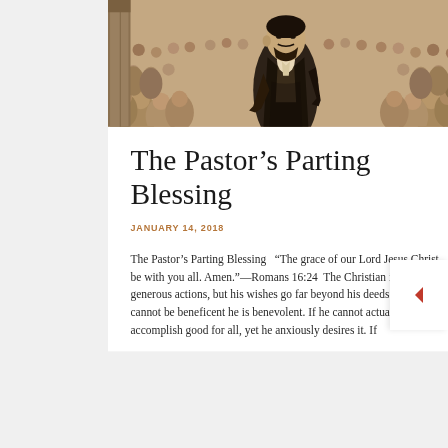[Figure (illustration): Sepia-toned engraving illustration of a bearded man in Victorian dress standing among a crowd of people, appearing to be a preacher or pastor addressing a congregation.]
The Pastor's Parting Blessing
JANUARY 14, 2018
The Pastor's Parting Blessing   "The grace of our Lord Jesus Christ be with you all. Amen."—Romans 16:24  The Christian is a man of generous actions, but his wishes go far beyond his deeds. Where he cannot be beneficent he is benevolent. If he cannot actually accomplish good for all, yet he anxiously desires it. If